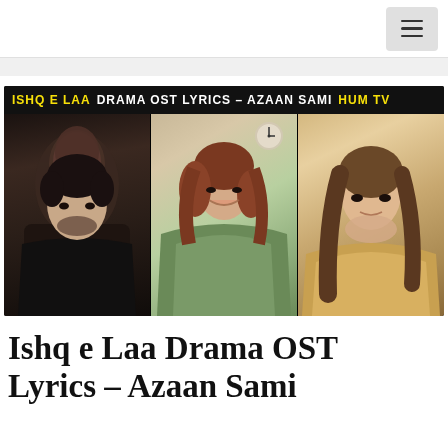Menu navigation header
[Figure (photo): Promotional image for 'Ishq e Laa Drama OST Lyrics – Azaan Sami Hum TV' showing three actors: a young man on the left, a woman in a green outfit in the center, and a woman in a golden outfit on the right. Black banner at top reads: ISHQ E LAA DRAMA OST LYRICS – AZAAN SAMI HUM TV]
Ishq e Laa Drama OST Lyrics – Azaan Sami